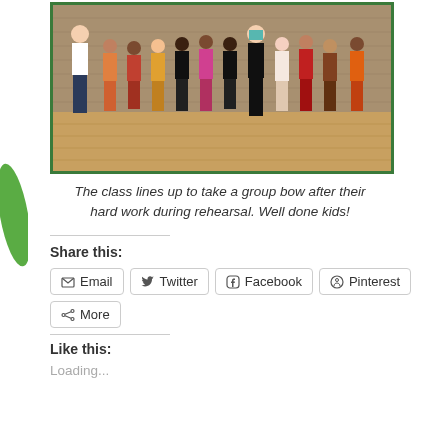[Figure (photo): Group photo of a class of children and two adults standing in a line on a wooden stage in front of a brick wall, taking a bow after rehearsal.]
The class lines up to take a group bow after their hard work during rehearsal. Well done kids!
Share this:
Email  Twitter  Facebook  Pinterest  More
Like this:
Loading...